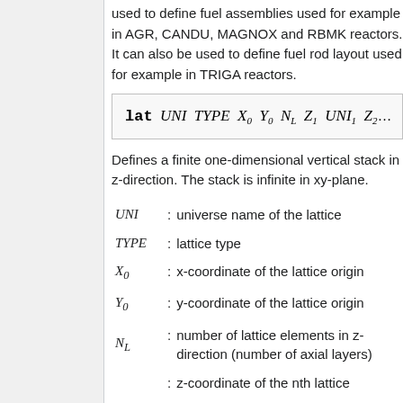used to define fuel assemblies used for example in AGR, CANDU, MAGNOX and RBMK reactors. It can also be used to define fuel rod layout used for example in TRIGA reactors.
Defines a finite one-dimensional vertical stack in z-direction. The stack is infinite in xy-plane.
UNI : universe name of the lattice
TYPE : lattice type
X_0 : x-coordinate of the lattice origin
Y_0 : y-coordinate of the lattice origin
N_L : number of lattice elements in z-direction (number of axial layers)
: z-coordinate of the nth lattice